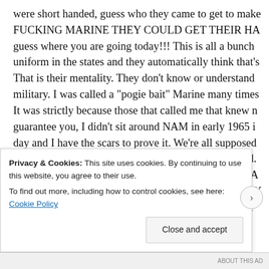were short handed, guess who they came to get to make up the shortfall, THE FUCKING MARINE THEY COULD GET THEIR HANDS ON!!! So much for don't worry guess where you are going today!!! This is all a bunch of crap. They see a uniform in the states and they automatically think that's where we belong. That is their mentality. They don't know or understand the structure of the military. I was called a "pogie bait" Marine many times. It pissed me off. It was strictly because those that called me that knew nothing about me. I'll guarantee you, I didn't sit around NAM in early 1965 in a nice clean office all day and I have the scars to prove it. We're all supposed to be infantry Marines because they HAVE to spend all their days in the field. Don't discount a Marine that volunteered to serve his country just because the Army got his MOS number, like the Corps only needs so many. You get what THEY assign you, you do what they tell you and no questions asked. I've
Privacy & Cookies: This site uses cookies. By continuing to use this website, you agree to their use.
To find out more, including how to control cookies, see here: Cookie Policy
Close and accept